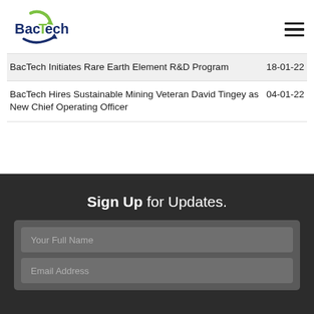[Figure (logo): BacTech logo with green recycling arrow arc and dark blue swoosh underline]
BacTech Initiates Rare Earth Element R&D Program  18-01-22
BacTech Hires Sustainable Mining Veteran David Tingey as New Chief Operating Officer  04-01-22
Sign Up for Updates.
Your Full Name
Email Address